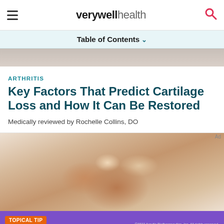verywell health
Table of Contents
[Figure (photo): Partial view of hands, likely elderly patient with caregiver, blurred background]
ARTHRITIS
Key Factors That Predict Cartilage Loss and How It Can Be Restored
Medically reviewed by Rochelle Collins, DO
[Figure (photo): Close-up photo of elderly hands being held by a caregiver, warm beige tones]
[Figure (other): Advertisement banner: TOPICAL TIP - Ask your healthcare provider about a new topical for plaque psoriasis - LEARN MORE button. Copyright 2022 Arcutis Biotherapeutics, Inc. All rights reserved. COM-ARG-101-2256062 09/2022]